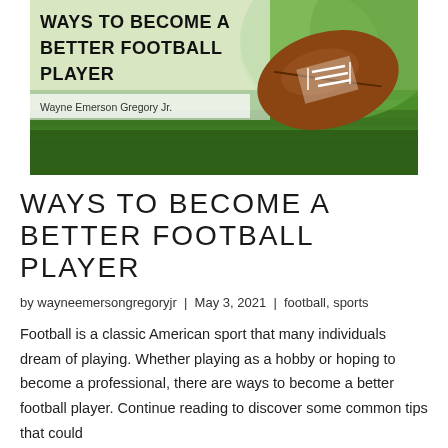[Figure (photo): Book cover image showing a football on green grass field with overlaid text 'WAYS TO BECOME A BETTER FOOTBALL PLAYER' and author name 'Wayne Emerson Gregory Jr.' on a semi-transparent white banner.]
WAYS TO BECOME A BETTER FOOTBALL PLAYER
by wayneemersongregoryjr | May 3, 2021 | football, sports
Football is a classic American sport that many individuals dream of playing. Whether playing as a hobby or hoping to become a professional, there are ways to become a better football player. Continue reading to discover some common tips that could